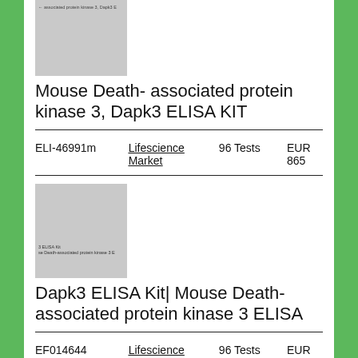[Figure (photo): Gray placeholder image for Mouse Death-associated protein kinase 3 ELISA KIT with small text overlay]
Mouse Death- associated protein kinase 3, Dapk3 ELISA KIT
| ELI-46991m | Lifescience Market | 96 Tests | EUR 865 |
| --- | --- | --- | --- |
[Figure (photo): Gray placeholder image for Dapk3 ELISA Kit with small text overlay]
Dapk3 ELISA Kit| Mouse Death-associated protein kinase 3 ELISA
| EF014644 | Lifescience Market | 96 Tests | EUR 689 |
| --- | --- | --- | --- |